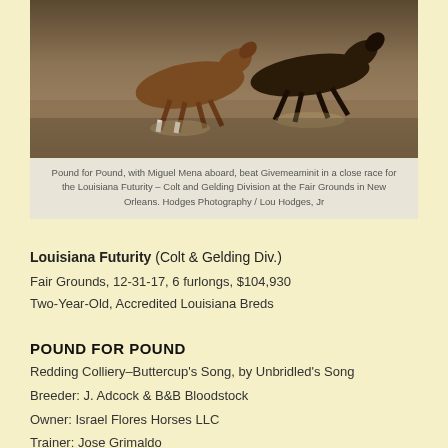[Figure (photo): Horses racing on a dirt track, legs visible mid-stride]
Pound for Pound, with Miguel Mena aboard, beat Givemeaminit in a close race for the Louisiana Futurity – Colt and Gelding Division at the Fair Grounds in New Orleans. Hodges Photography / Lou Hodges, Jr
Louisiana Futurity (Colt & Gelding Div.)
Fair Grounds, 12-31-17, 6 furlongs, $104,930
Two-Year-Old, Accredited Louisiana Breds
POUND FOR POUND
Redding Colliery–Buttercup's Song, by Unbridled's Song
Breeder: J. Adcock & B&B Bloodstock
Owner: Israel Flores Horses LLC
Trainer: Jose Grimaldo
Jockey: Miguel Mena